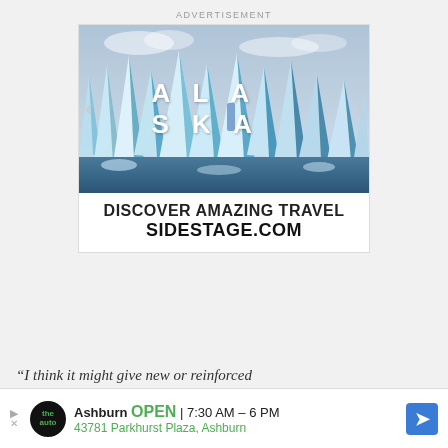ADVERTISEMENT
[Figure (illustration): Advertisement banner showing glacier/iceberg image with text 'ALASKA' overlaid in white bold letters, navigation arrows on left and right, and below the image: 'DISCOVER AMAZING TRAVEL' and 'SIDESTAGE.COM' in bold black text]
“I think it might give new or reinforced
[Figure (infographic): Bottom ad bar: Ashburn auto service ad with circular logo, 'Ashburn OPEN 7:30AM-6PM' and '43781 Parkhurst Plaza, Ashburn' with blue navigation arrow icon]